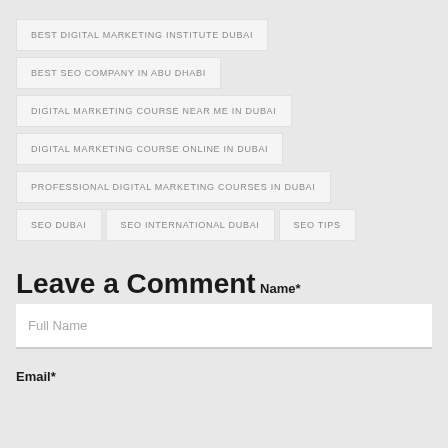BEST DIGITAL MARKETING INSTITUTE DUBAI
BEST SEO COMPANY IN ABU DHABI
DIGITAL MARKETING COURSE NEAR ME IN DUBAI
DIGITAL MARKETING COURSE ONLINE IN DUBAI
PROFESSIONAL DIGITAL MARKETING COURSES IN DUBAI
SEO DUBAI
SEO INTERNATIONAL DUBAI
SEO TIPS
Leave a Comment
Name*
Full Name
Email*